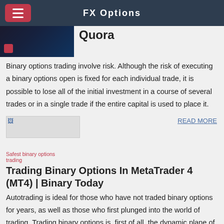FX Options
[Figure (screenshot): Partial screenshot of a website or article image (dark background with chart elements)]
Quora
Binary options trading involve risk. Although the risk of executing a binary options open is fixed for each individual trade, it is possible to lose all of the initial investment in a course of several trades or in a single trade if the entire capital is used to place it.
[Figure (photo): Safest binary options trading image placeholder]
READ MORE
Trading Binary Options In MetaTrader 4 (MT4) | Binary Today
Autotrading is ideal for those who have not traded binary options for years, as well as those who first plunged into the world of trading. Trading binary options is, first of all, the dynamic plane of the world of trading, in which every day changes occur, whether it is the development of new technologies or new innovative opportunities.